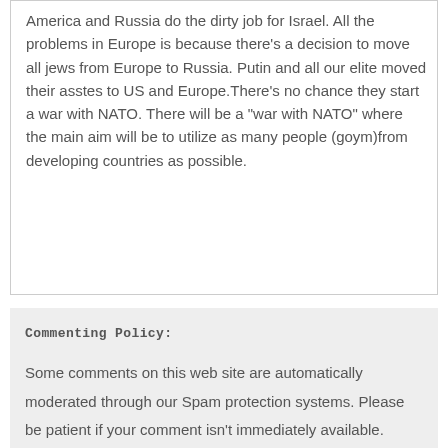America and Russia do the dirty job for Israel. All the problems in Europe is because there's a decision to move all jews from Europe to Russia. Putin and all our elite moved their asstes to US and Europe.There's no chance they start a war with NATO. There will be a "war with NATO" where the main aim will be to utilize as many people (goym)from developing countries as possible.
Commenting Policy:
Some comments on this web site are automatically moderated through our Spam protection systems. Please be patient if your comment isn't immediately available. We're not trying to censor you, the system just wants to make sure